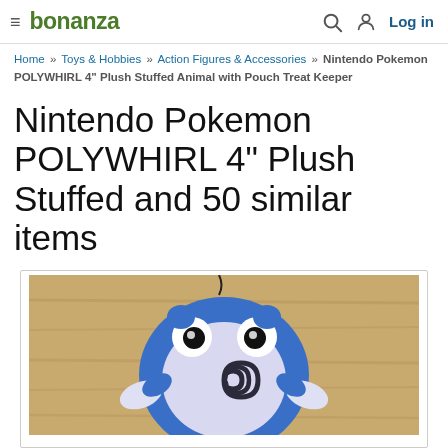bonanza  Log in
Home » Toys & Hobbies » Action Figures & Accessories » Nintendo Pokemon POLYWHIRL 4" Plush Stuffed Animal with Pouch Treat Keeper
Nintendo Pokemon POLYWHIRL 4" Plush Stuffed and 50 similar items
[Figure (photo): Photo of a Poliwhirl (Nintendo Pokemon) blue plush stuffed animal with a spiral pattern on its belly, large white eyes with black pupils, and white stubby arms, photographed from above on a wooden surface.]